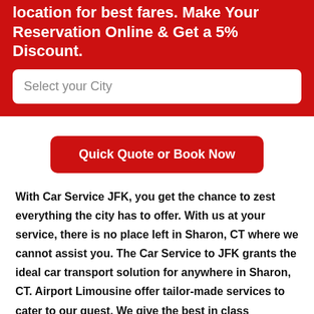location for best fares. Make Your Reservation Online & Get a 5% Discount.
Select your City
Quick Quote or Book Now
With Car Service JFK, you get the chance to zest everything the city has to offer. With us at your service, there is no place left in Sharon, CT where we cannot assist you. The Car Service to JFK grants the ideal car transport solution for anywhere in Sharon, CT. Airport Limousine offer tailor-made services to cater to our guest. We give the best in class experience.